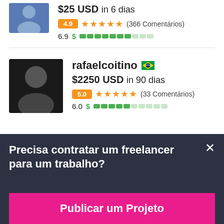$25 USD in 6 dias
4.9 ★★★★★ (366 Comentários)
6.9 $ [score bar]
rafaelcoitino 🇧🇷
$2250 USD in 90 dias
5.0 ★★★★★ (33 Comentários)
6.0 $ [score bar]
Precisa contratar um freelancer para um trabalho?
Publicar um Projeto